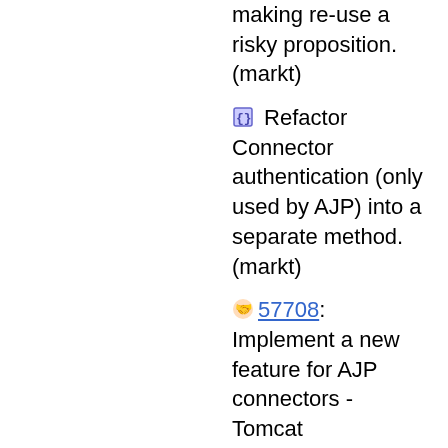making re-use a risky proposition. (markt)
Refactor Connector authentication (only used by AJP) into a separate method. (markt)
57708: Implement a new feature for AJP connectors - Tomcat Authorization. If the new tomcatAuthorization attribute is set to true (it is disabled by default) Tomcat will take an authenticated user name from the AJP protocol and use the appropriate Realm for the request to authorize (i.e. add roles) to that user. (markt)
Fix an issue that meant that any pipe-lined data